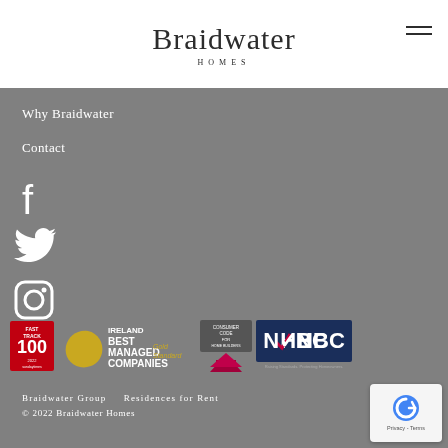Braidwater HOMES
Why Braidwater
Contact
[Figure (logo): Facebook icon white on grey]
[Figure (logo): Twitter bird icon white on grey]
[Figure (logo): Instagram icon white on grey]
[Figure (logo): Fast Track 100 award badge, Best Managed Companies Ireland Gold Standard badge, Consumer Code for Home Builders badge, NHBC Raising Standards Protecting Homeowners badge]
Braidwater Group    Residences for Rent
© 2022 Braidwater Homes